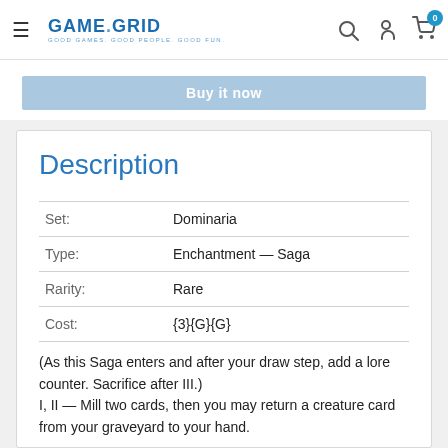GAME GRID — Good Games. Good People. Good Fun.
Buy it now
Description
| Field | Value |
| --- | --- |
| Set: | Dominaria |
| Type: | Enchantment — Saga |
| Rarity: | Rare |
| Cost: | {3}{G}{G} |
(As this Saga enters and after your draw step, add a lore counter. Sacrifice after III.)
I, II — Mill two cards, then you may return a creature card from your graveyard to your hand.